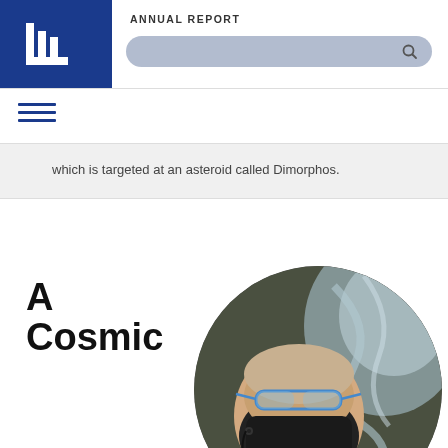ANNUAL REPORT
which is targeted at an asteroid called Dimorphos.
A
Cosmic
[Figure (photo): A person wearing a black face mask and blue safety glasses closely examining or working on a transparent/glass equipment or component, shown in a circular cropped photo.]